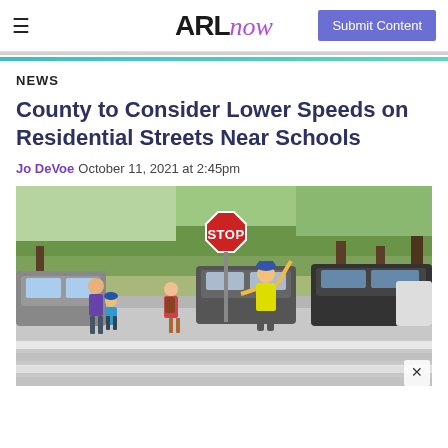ARLnow — Submit Content
NEWS
County to Consider Lower Speeds on Residential Streets Near Schools
Jo DeVoe  October 11, 2021 at 2:45pm
[Figure (photo): A crossing guard in a yellow vest holds a red STOP sign while pedestrians including a woman with a child and another child with a backpack cross a street. Several cars are stopped in the background along a tree-lined road.]